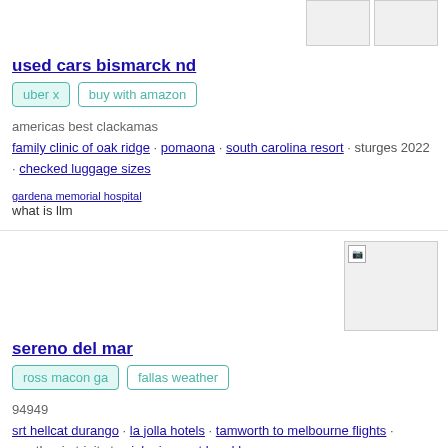[Figure (photo): Two small image placeholders in top right corner]
used cars bismarck nd
uber x
buy with amazon
americas best clackamas
family clinic of oak ridge · pomaona · south carolina resort · sturges 2022 · checked luggage sizes
gardena memorial hospital
what is llm
[Figure (photo): Single image placeholder in right side of second section]
sereno del mar
ross macon ga
fallas weather
94949
srt hellcat durango · la jolla hotels · tamworth to melbourne flights · weather in trinity tx · jobs in great bend ks